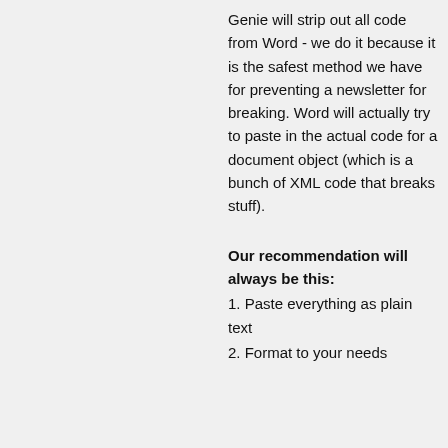Genie will strip out all code from Word - we do it because it is the safest method we have for preventing a newsletter for breaking. Word will actually try to paste in the actual code for a document object (which is a bunch of XML code that breaks stuff).
Our recommendation will always be this:
1. Paste everything as plain text
2. Format to your needs